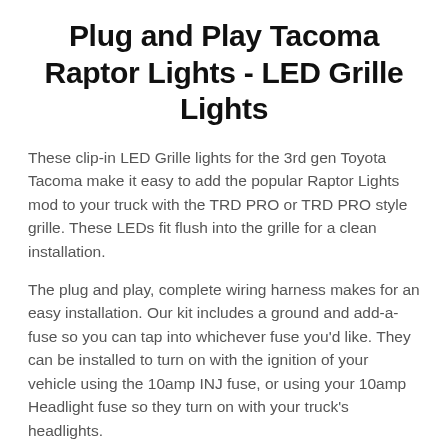Plug and Play Tacoma Raptor Lights - LED Grille Lights
These clip-in LED Grille lights for the 3rd gen Toyota Tacoma make it easy to add the popular Raptor Lights mod to your truck with the TRD PRO or TRD PRO style grille. These LEDs fit flush into the grille for a clean installation.
The plug and play, complete wiring harness makes for an easy installation. Our kit includes a ground and add-a-fuse so you can tap into whichever fuse you'd like. They can be installed to turn on with the ignition of your vehicle using the 10amp INJ fuse, or using your 10amp Headlight fuse so they turn on with your truck's headlights.